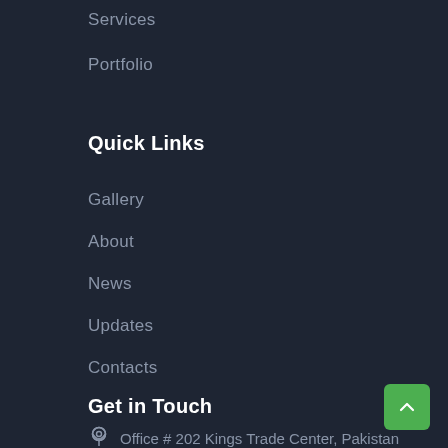Services
Portfolio
Quick Links
Gallery
About
News
Updates
Contacts
Get in Touch
Office # 202 Kings Trade Center, Pakistan
info@oryxsolution.com